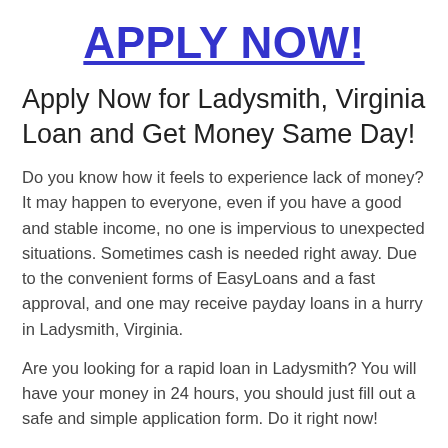APPLY NOW!
Apply Now for Ladysmith, Virginia Loan and Get Money Same Day!
Do you know how it feels to experience lack of money? It may happen to everyone, even if you have a good and stable income, no one is impervious to unexpected situations. Sometimes cash is needed right away. Due to the convenient forms of EasyLoans and a fast approval, and one may receive payday loans in a hurry in Ladysmith, Virginia.
Are you looking for a rapid loan in Ladysmith? You will have your money in 24 hours, you should just fill out a safe and simple application form. Do it right now!